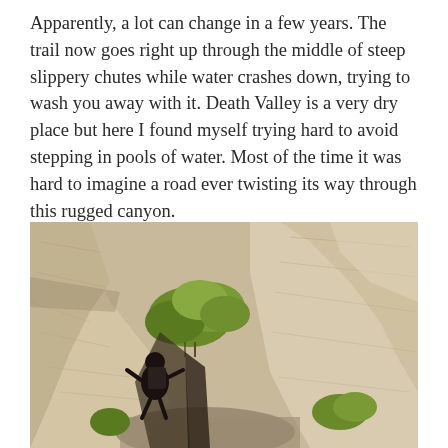Apparently, a lot can change in a few years. The trail now goes right up through the middle of steep slippery chutes while water crashes down, trying to wash you away with it. Death Valley is a very dry place but here I found myself trying hard to avoid stepping in pools of water. Most of the time it was hard to imagine a road ever twisting its way through this rugged canyon.
[Figure (photo): A person climbing through a narrow rocky canyon with pale sandstone walls and green shrubs/small trees visible. The canyon is tight and rugged, with smooth worn rock surfaces.]